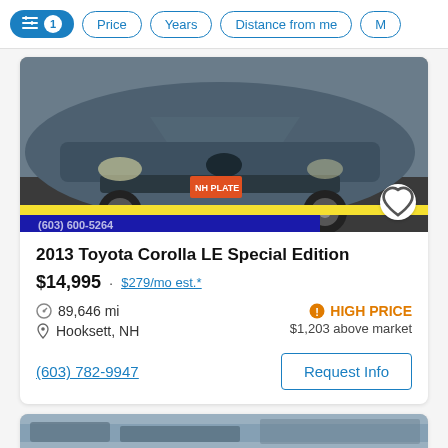Filter controls: [active filter icon 1] Price  Years  Distance from me  M...
[Figure (photo): Front view of a grey 2013 Toyota Corolla LE Special Edition parked on asphalt. Yellow and blue dealer banner partially visible at bottom of image. Heart/favorite button in bottom-right corner.]
2013 Toyota Corolla LE Special Edition
$14,995 · $279/mo est.*
89,646 mi
Hooksett, NH
HIGH PRICE
$1,203 above market
(603) 782-9947
Request Info
[Figure (photo): Partial view of another car listing below, only top portion visible.]